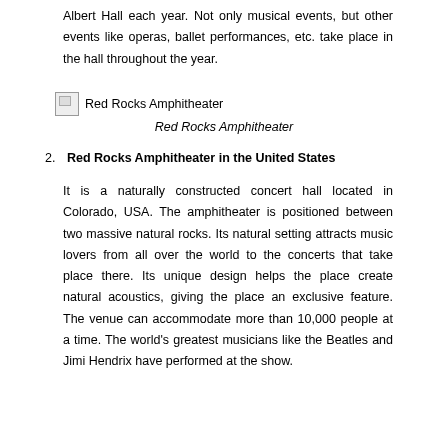Albert Hall each year. Not only musical events, but other events like operas, ballet performances, etc. take place in the hall throughout the year.
[Figure (photo): Broken image placeholder labeled 'Red Rocks Amphitheater']
Red Rocks Amphitheater
2. Red Rocks Amphitheater in the United States
It is a naturally constructed concert hall located in Colorado, USA. The amphitheater is positioned between two massive natural rocks. Its natural setting attracts music lovers from all over the world to the concerts that take place there. Its unique design helps the place create natural acoustics, giving the place an exclusive feature. The venue can accommodate more than 10,000 people at a time. The world's greatest musicians like the Beatles and Jimi Hendrix have performed at the show.